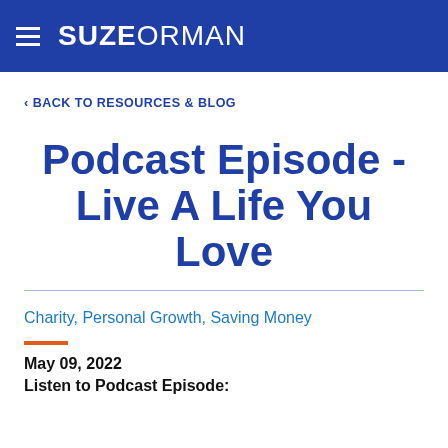SUZEORMAN
< BACK TO RESOURCES & BLOG
Podcast Episode - Live A Life You Love
Charity, Personal Growth, Saving Money
May 09, 2022
Listen to Podcast Episode: